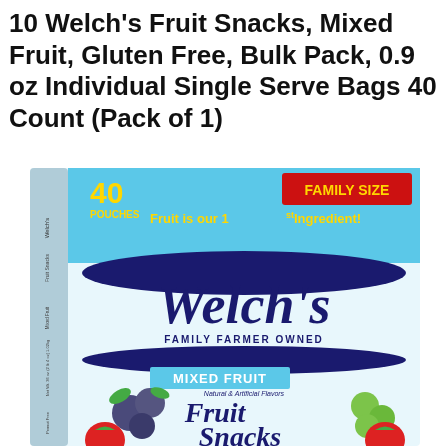10 Welch's Fruit Snacks, Mixed Fruit, Gluten Free, Bulk Pack, 0.9 oz Individual Single Serve Bags 40 Count (Pack of 1)
[Figure (photo): Welch's Fruit Snacks Mixed Fruit box, Family Size, 40 pouches. Blue box with navy Welch's logo, red Family Size banner, yellow '40 POUCHES' text, tagline 'Fruit is our 1st Ingredient!', 'FAMILY FARMER OWNED', 'MIXED FRUIT' label, and fruit imagery including blueberries, strawberries, and green grapes.]